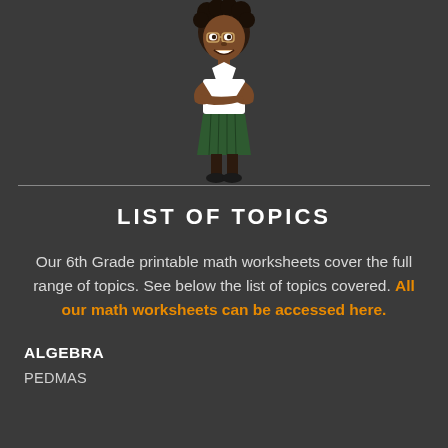[Figure (illustration): Cartoon illustration of a young girl student with arms crossed, wearing a white shirt and green skirt, with dark hair.]
LIST OF TOPICS
Our 6th Grade printable math worksheets cover the full range of topics. See below the list of topics covered. All our math worksheets can be accessed here.
ALGEBRA
PEDMAS